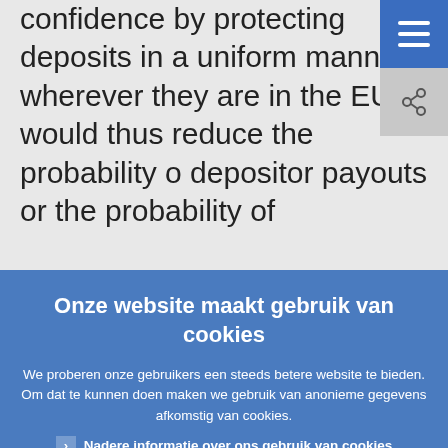confidence by protecting deposits in a uniform manner wherever they are in the EU. It would thus reduce the probability o depositor payouts or the probability of
Onze website maakt gebruik van cookies
We proberen onze gebruikers een steeds betere website te bieden. Om dat te kunnen doen maken we gebruik van anonieme gegevens afkomstig van cookies.
Nadere informatie over ons gebruik van cookies
Ik heb het begrepen en accepteer het gebruik van cookies
Ik weiger cookies